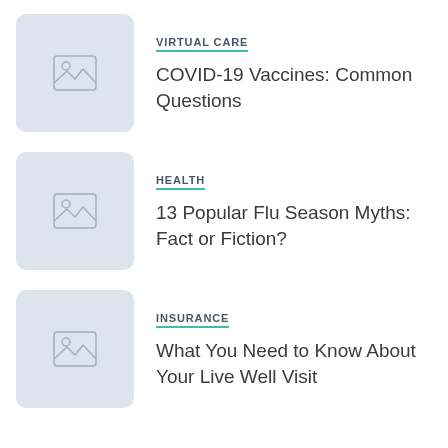[Figure (illustration): Placeholder image thumbnail with mountain/landscape icon on light blue-grey background]
VIRTUAL CARE
COVID-19 Vaccines: Common Questions
[Figure (illustration): Placeholder image thumbnail with mountain/landscape icon on light blue-grey background]
HEALTH
13 Popular Flu Season Myths: Fact or Fiction?
[Figure (illustration): Placeholder image thumbnail with mountain/landscape icon on light blue-grey background]
INSURANCE
What You Need to Know About Your Live Well Visit